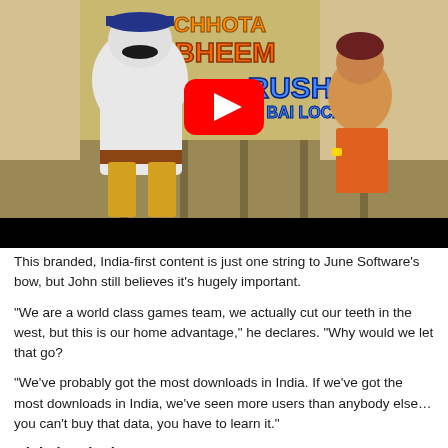[Figure (screenshot): YouTube video thumbnail for 'Chhota Bheem Rush Mumbai Local' game, showing two animated characters: a large mustachioed police officer in white uniform and a young boy with brown hair. The video has a red YouTube play button overlay in the center. The background shows a train track/station environment. Below the cartoon scene is a black bar.]
This branded, India-first content is just one string to June Software's bow, but John still believes it's hugely important.
"We are a world class games team, we actually cut our teeth in the west, but this is our home advantage," he declares. "Why would we let that go?
"We've probably got the most downloads in India. If we've got the most downloads in India, we've seen more users than anybody else… you can't buy that data, you have to learn it."
Global outlook
But while the insights from the Indian market have been invaluable...